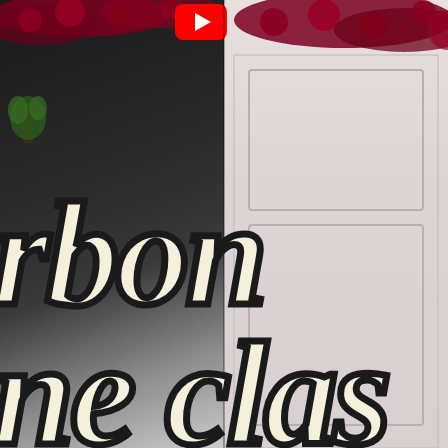[Figure (screenshot): A split-screen video thumbnail showing two side-by-side scenes. Left side shows a dark room with a small plant visible. Right side shows a white door with maroon/dark red rose decorations at the top. A YouTube play button (red rectangle with white triangle) is visible at the top center. Large bold white outlined italic text overlays the entire image reading 'rbon' on the upper portion and 'ne clas' on the lower portion, suggesting the full words are '...rbon...' and '...ne clas...' (likely 'carbon' and 'one class' or similar).]